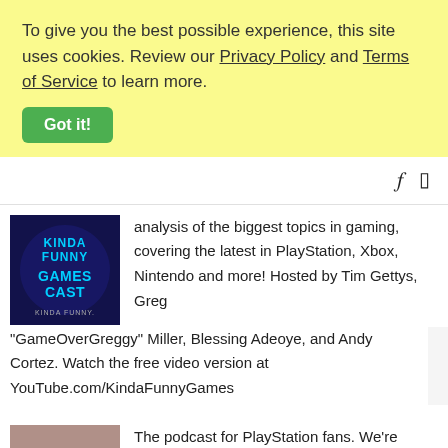To give you the best possible experience, this site uses cookies. Review our Privacy Policy and Terms of Service to learn more.
Got it!
[Figure (screenshot): Kinda Funny Gamescast podcast logo - blue and teal text on dark background]
analysis of the biggest topics in gaming, covering the latest in PlayStation, Xbox, Nintendo and more! Hosted by Tim Gettys, Greg “GameOverGreggy” Miller, Blessing Adeoye, and Andy Cortez. Watch the free video version at YouTube.com/KindaFunnyGames
[Figure (photo): Brownish-pink square thumbnail placeholder for a second podcast]
The podcast for PlayStation fans. We’re giving PlayStation-focused insight on PlayStation news, we’re reveling in nostalgia, and we’re making